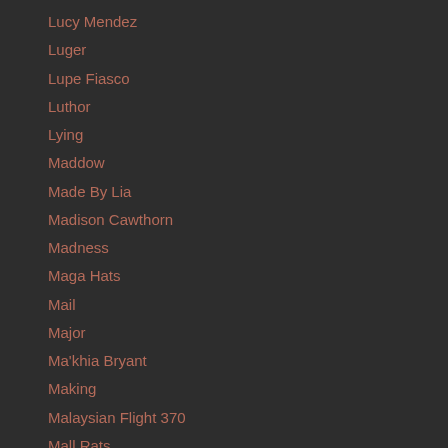Lucy Mendez
Luger
Lupe Fiasco
Luthor
Lying
Maddow
Made By Lia
Madison Cawthorn
Madness
Maga Hats
Mail
Major
Ma'khia Bryant
Making
Malaysian Flight 370
Mall Rats
Mama June
Man
Mandela
Manhunt